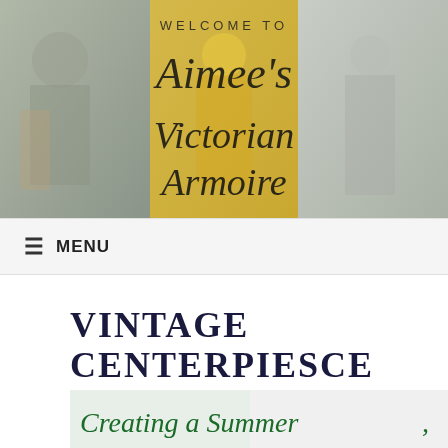[Figure (photo): Header banner image of 'Aimee's Victorian Armoire' website with collage of people in Victorian costumes and cursive script overlay reading 'WELCOME TO Aimee's Victorian Armoire']
MENU
VINTAGE CENTERPIESCE
[Figure (photo): Partial thumbnail image showing green cursive script text 'Creating a Summer']